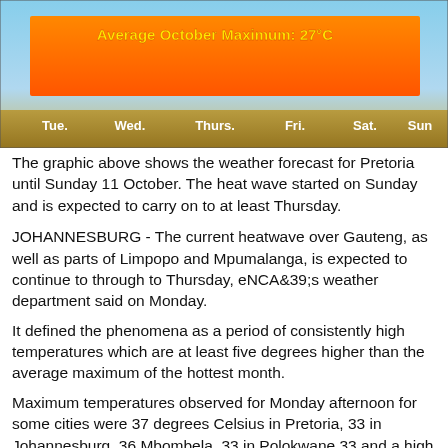[Figure (infographic): Weather forecast graphic for Pretoria showing a large orange/gradient bar chart indicating high temperatures with title 'Average October Maximum: 27°C'. Days labeled at bottom: Tue., Wed., Thurs., Fri., Sat., Sun. Background shows savanna landscape.]
The graphic above shows the weather forecast for Pretoria until Sunday 11 October. The heat wave started on Sunday and is expected to carry on to at least Thursday.
JOHANNESBURG - The current heatwave over Gauteng, as well as parts of Limpopo and Mpumalanga, is expected to continue to through to Thursday, eNCA&39;s weather department said on Monday.
It defined the phenomena as a period of consistently high temperatures which are at least five degrees higher than the average maximum of the hottest month.
Maximum temperatures observed for Monday afternoon for some cities were 37 degrees Celsius in Pretoria, 33 in Johannesburg, 36 Mbombela, 33 in Polokwane 33 and a high of 42 in Skukuza.